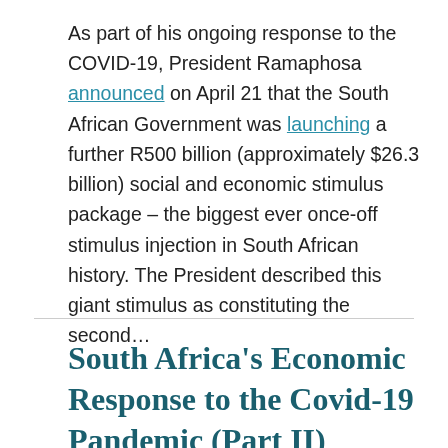As part of his ongoing response to the COVID-19, President Ramaphosa announced on April 21 that the South African Government was launching a further R500 billion (approximately $26.3 billion) social and economic stimulus package – the biggest ever once-off stimulus injection in South African history. The President described this giant stimulus as constituting the second…
South Africa's Economic Response to the Covid-19 Pandemic (Part II)